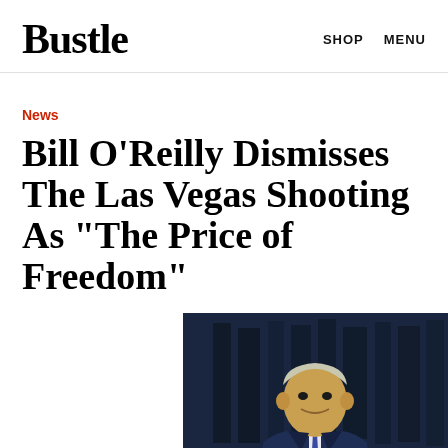Bustle   SHOP   MENU
News
Bill O'Reilly Dismisses The Las Vegas Shooting As "The Price of Freedom"
[Figure (photo): Photo of Bill O'Reilly in a dark suit and blue tie against a dark bookshelf background]
By Seth Millstein